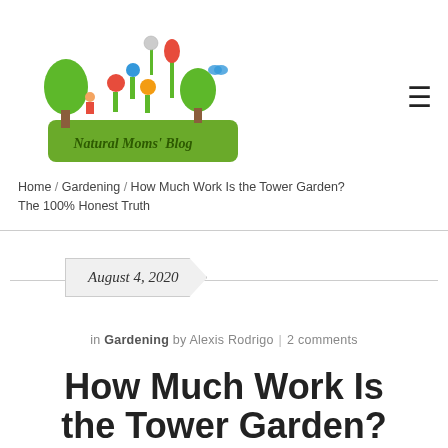[Figure (logo): Natural Moms' Blog logo with illustrated garden scene featuring trees, flowers, and children, on a green banner]
Home / Gardening / How Much Work Is the Tower Garden? The 100% Honest Truth
August 4, 2020
in Gardening by Alexis Rodrigo | 2 comments
How Much Work Is the Tower Garden?